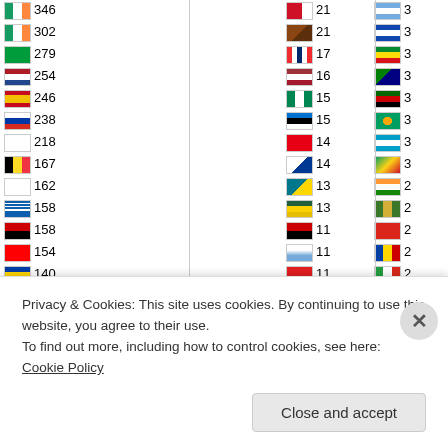| Flag | Count | Flag | Count | Flag | Count |
| --- | --- | --- | --- | --- | --- |
| Ireland | 346 | Bahrain | 21 | Argentina | 3 |
| Ireland | 302 | France | 21 | El Salvador | 3 |
| Brazil | 279 | Norway | 17 | Ethiopia/Eritrea | 3 |
| Netherlands | 254 | Latvia | 16 | Antigua | 3 |
| Spain | 246 | Nigeria | 15 | Kenya | 3 |
| Russia | 238 | Estonia | 15 | Grenada | 3 |
| Finland | 218 | Tunisia | 14 | Tuvalu | 3 |
| Belgium | 167 | Panama | 14 | Guyana/Venezuela | 3 |
| Japan | 162 | Bahamas/Barbados | 13 | India | 2 |
| Greece | 158 | Rwanda | 13 | Gambia | 2 |
| Switzerland | 158 | Angola | 11 | Vietnam | 2 |
| Switzerland | 154 | Uruguay | 11 | Moldova | 2 |
| Moldova | 140 | Albania | 11 | Iran | 2 |
| Czech | 129 | France | 10 | Kenya/Tanzania | 2 |
| Sweden | 127 | Cape Verde | 10 | Croatia | 2 |
| Mexico | 124 | Mali | 10 | Uganda | 1 |
| UAE | 123 | Bolivia | 10 | Uganda | 1 |
| Portugal | 101 | Macedonia | 10 | Senegal | 1 |
| Hungary | 99 | Oman | 10 | Mali | 1 |
| Denmark | 99 | Nepal | 9 | New Zealand | 1 |
| Turkey | 98 | Georgia | 9 | Zimbabwe | 1 |
Privacy & Cookies: This site uses cookies. By continuing to use this website, you agree to their use.
To find out more, including how to control cookies, see here: Cookie Policy
Close and accept